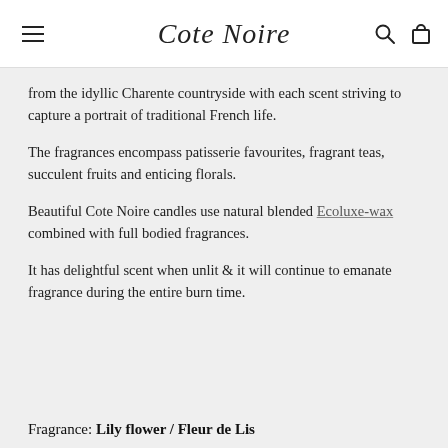Cote Noire
from the idyllic Charente countryside with each scent striving to capture a portrait of traditional French life.
The fragrances encompass patisserie favourites, fragrant teas, succulent fruits and enticing florals.
Beautiful Cote Noire candles use natural blended Ecoluxe-wax combined with full bodied fragrances.
It has delightful scent when unlit & it will continue to emanate fragrance during the entire burn time.
Fragrance: Lily flower / Fleur de Lis